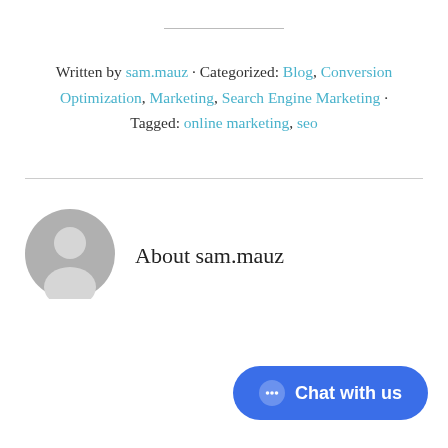Written by sam.mauz · Categorized: Blog, Conversion Optimization, Marketing, Search Engine Marketing · Tagged: online marketing, seo
About sam.mauz
[Figure (illustration): Gray circular user avatar icon]
Chat with us